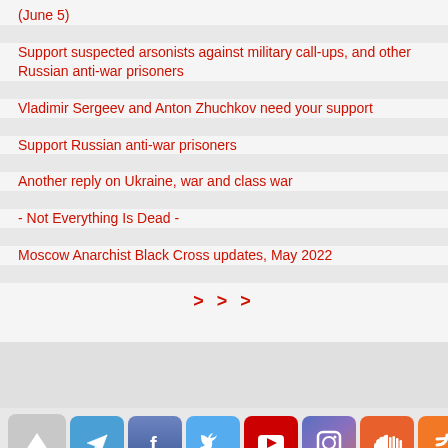(June 5)
Support suspected arsonists against military call-ups, and other Russian anti-war prisoners
Vladimir Sergeev and Anton Zhuchkov need your support
Support Russian anti-war prisoners
Another reply on Ukraine, war and class war
- Not Everything Is Dead -
Moscow Anarchist Black Cross updates, May 2022
>>>
[Figure (infographic): Footer with back-to-top button and social media icons: Telegram, Facebook, Twitter, YouTube, Instagram, SoundCloud, RSS]
Site content is available under the Creative